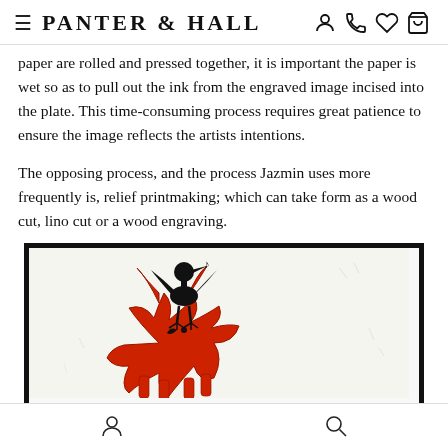PANTER & HALL
paper are rolled and pressed together, it is important the paper is wet so as to pull out the ink from the engraved image incised into the plate. This time-consuming process requires great patience to ensure the image reflects the artists intentions.
The opposing process, and the process Jazmin uses more frequently is, relief printmaking; which can take form as a wood cut, lino cut or a wood engraving.
[Figure (illustration): A lino cut or woodcut print showing a red fox-like animal with a black bird standing on its back, in a rough expressive printmaking style with black border on white paper.]